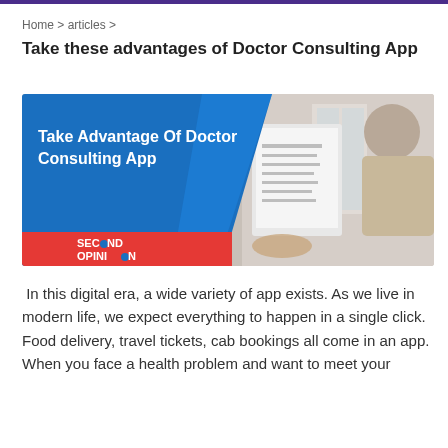Home > articles >
Take these advantages of Doctor Consulting App
[Figure (photo): Hero image for article showing a person looking at a document on a laptop/monitor. Left side has a blue diagonal overlay with bold white text 'Take Advantage Of Doctor Consulting App' and a red banner at the bottom with 'SECOND OPINION' logo.]
In this digital era, a wide variety of app exists. As we live in modern life, we expect everything to happen in a single click. Food delivery, travel tickets, cab bookings all come in an app. When you face a health problem and want to meet your